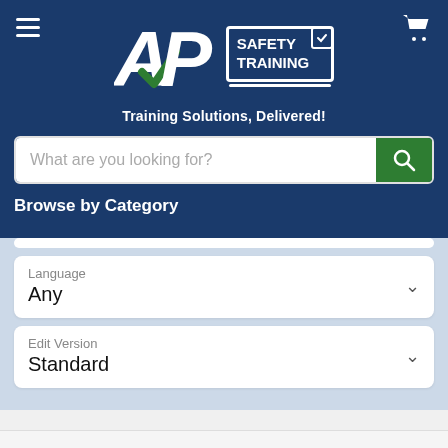[Figure (logo): AP Safety Training logo with hamburger menu and cart icon]
Training Solutions, Delivered!
[Figure (screenshot): Search bar with placeholder text 'What are you looking for?' and green search button]
Browse by Category
Language
Any
Edit Version
Standard
4204-ENDVBUSTFU  Preview Video  $429.00